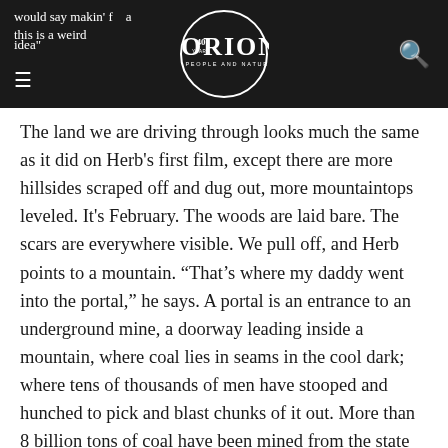would say makin' f... and... this is a weird idea — ORION (40 years, People and Nature)
The land we are driving through looks much the same as it did on Herb's first film, except there are more hillsides scraped off and dug out, more mountaintops leveled. It's February. The woods are laid bare. The scars are everywhere visible. We pull off, and Herb points to a mountain. “That’s where my daddy went into the portal,” he says. A portal is an entrance to an underground mine, a doorway leading inside a mountain, where coal lies in seams in the cool dark; where tens of thousands of men have stooped and hunched to pick and blast chunks of it out. More than 8 billion tons of coal have been mined from the state of Kentucky in the last two centuries.
When the railroads came in the late nineteenth